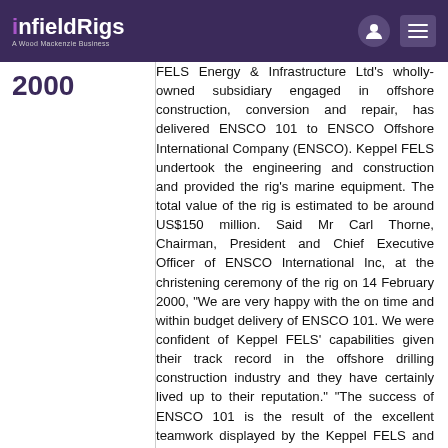infieldRigs — A Wood Mackenzie Business
FELS Energy & Infrastructure Ltd's wholly-owned subsidiary engaged in offshore construction, conversion and repair, has delivered ENSCO 101 to ENSCO Offshore International Company (ENSCO). Keppel FELS undertook the engineering and construction and provided the rig's marine equipment. The total value of the rig is estimated to be around US$150 million. Said Mr Carl Thorne, Chairman, President and Chief Executive Officer of ENSCO International Inc, at the christening ceremony of the rig on 14 February 2000, "We are very happy with the on time and within budget delivery of ENSCO 101. We were confident of Keppel FELS' capabilities given their track record in the offshore drilling construction industry and they have certainly lived up to their reputation." "The success of ENSCO 101 is the result of the excellent teamwork displayed by the Keppel FELS and ENSCO project teams over the past two years. We are pleased to have had the opportunity to work with